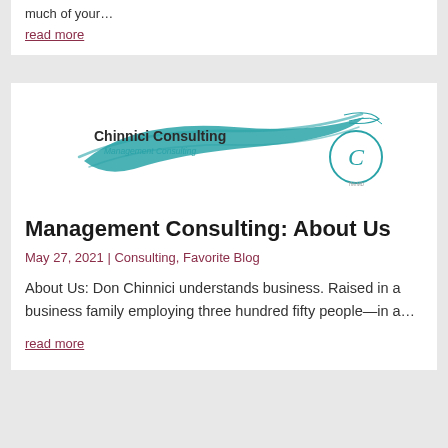much of your…
read more
[Figure (logo): Chinnici Consulting Management Consulting logo with teal brushstroke and circular C emblem]
Management Consulting: About Us
May 27, 2021 | Consulting, Favorite Blog
About Us: Don Chinnici understands business. Raised in a business family employing three hundred fifty people—in a…
read more